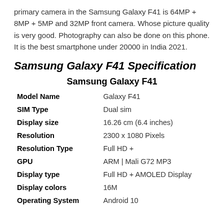primary camera in the Samsung Galaxy F41 is 64MP + 8MP + 5MP and 32MP front camera. Whose picture quality is very good. Photography can also be done on this phone. It is the best smartphone under 20000 in India 2021.
Samsung Galaxy F41 Specification
Samsung Galaxy F41
|  |  |
| --- | --- |
| Model Name | Galaxy F41 |
| SIM Type | Dual sim |
| Display size | 16.26 cm (6.4 inches) |
| Resolution | 2300 x 1080 Pixels |
| Resolution Type | Full HD + |
| GPU | ARM | Mali G72 MP3 |
| Display type | Full HD + AMOLED Display |
| Display colors | 16M |
| Operating System | Android 10 |